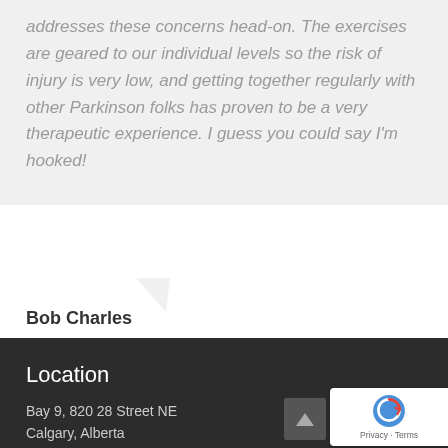addresses these concerns head-on. The exercises are geared to our individual levels so the risk of injury is very low, and getting together regularly with other Parkinson folks has proven to be a very therapeutic experience. I guess you could say I'm hooked!
Bob Charles
Location
Bay 9, 820 28 Street NE
Calgary, Alberta